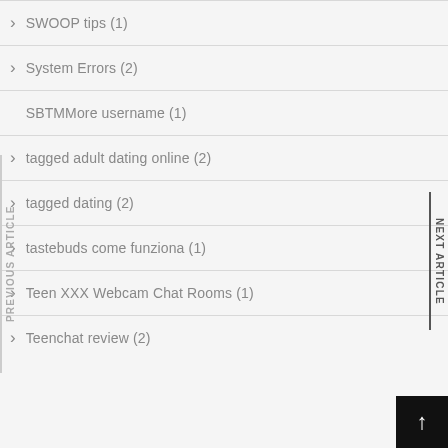SWOOP tips (1)
System Errors (2)
SBMore username (1)
tagged adult dating online (2)
tagged dating (2)
tastebuds come funziona (1)
Teen XXX Webcam Chat Rooms (1)
Teenchat review (2)